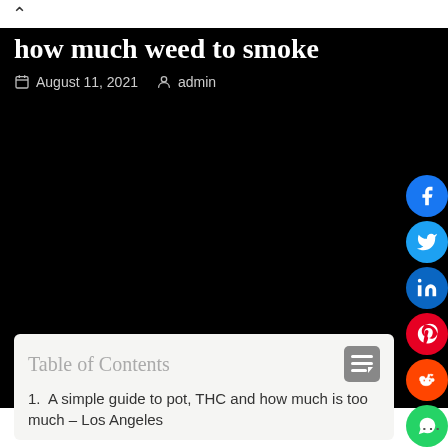^
how much weed to smoke
August 11, 2021  admin
[Figure (other): Large black rectangular image area (video or photo placeholder)]
Table of Contents
1.  A simple guide to pot, THC and how much is too much – Los Angeles